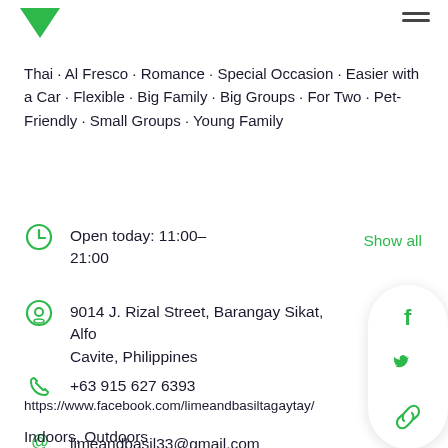Thai · Al Fresco · Romance · Special Occasion · Easier with a Car · Flexible · Big Family · Big Groups · For Two · Pet-Friendly · Small Groups · Young Family
Open today: 11:00–21:00  Show all
9014 J. Rizal Street, Barangay Sikat, Alfo... Cavite, Philippines
+63 915 627 6393
limeandbasil33@gmail.com
https://www.facebook.com/limeandbasiltagaytay/
Indoors, Outdoors